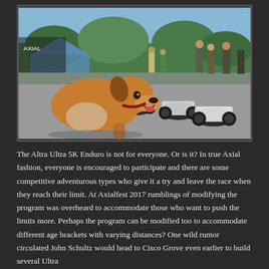[Figure (photo): Outdoor scene at Axialfest 2017 event. In the foreground, a medium-sized brown dog with a collar sniffs at small RC (radio-controlled) off-road crawlers/trucks on the ground. Multiple RC vehicles are visible on pavement. In the background, people stand around at what appears to be an outdoor RC event, with tents and banners visible under a clear blue sky.]
The Altra Ultra 5K Enduro is not for everyone. Or is it? In true Axial fashion, everyone is encouraged to participate and there are some competitive adventurous types who give it a try and leave the race when they reach their limit. At Axialfest 2017 rumblings of modifying the program was overheard to accommodate those who want to push the limits more. Perhaps the program can be modified too to accommodate different age brackets with varying distances? One wild rumor circulated John Schultz would head to Cisco Grove even earlier to build several Ultra